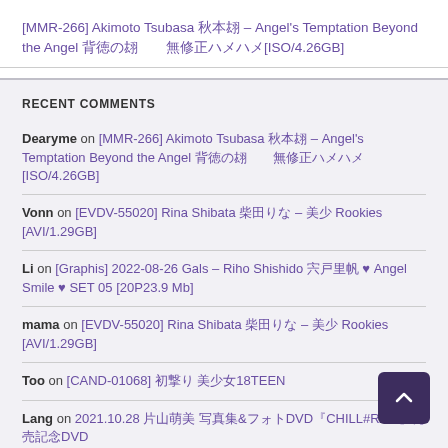[MMR-266] Akimoto Tsubasa 秋本翼 – Angel's Temptation Beyond the Angel 背徳の翼　無修正ハメハメ[ISO/4.26GB]
RECENT COMMENTS
Dearyme on [MMR-266] Akimoto Tsubasa 秋本翼 – Angel's Temptation Beyond the Angel 背徳の翼　無修正ハメハメ[ISO/4.26GB]
Vonn on [EVDV-55020] Rina Shibata 柴田りな – 美少 Rookies [AVI/1.29GB]
Li on [Graphis] 2022-08-26 Gals – Riho Shishido 宍戸里帆 ♥ Angel Smile ♥ SET 05 [20P23.9 Mb]
mama on [EVDV-55020] Rina Shibata 柴田りな – 美少 Rookies [AVI/1.29GB]
Too on [CAND-01068] 初撮り 美少女18TEEN
Lang on 2021.10.28 片山萌美 写真集&フォトDVD『CHILL#RAIL』発売記念DVD